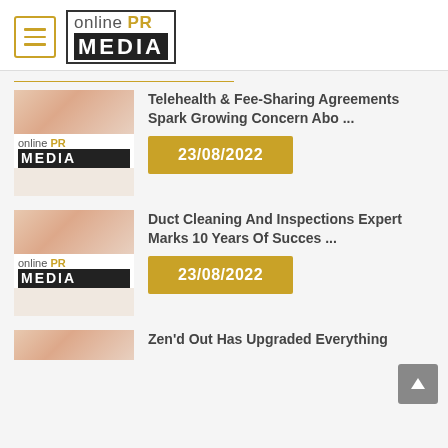[Figure (logo): Online PR Media logo with hamburger menu icon]
Telehealth & Fee-Sharing Agreements Spark Growing Concern Abo ...
23/08/2022
Duct Cleaning And Inspections Expert Marks 10 Years Of Succes ...
23/08/2022
Zen'd Out Has Upgraded Everything